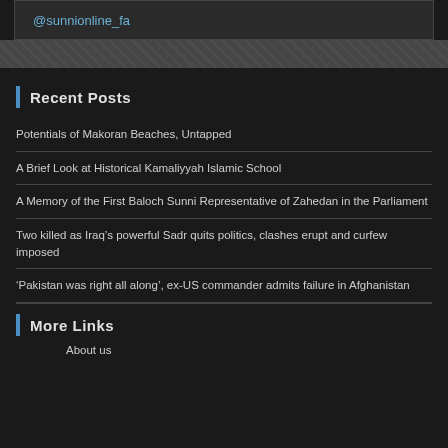@sunnionline_fa
Recent Posts
Potentials of Makoran Beaches, Untapped
A Brief Look at Historical Kamaliyyah Islamic School
A Memory of the First Baloch Sunni Representative of Zahedan in the Parliament
Two killed as Iraq’s powerful Sadr quits politics, clashes erupt and curfew imposed
‘Pakistan was right all along’, ex-US commander admits failure in Afghanistan
More Links
About us